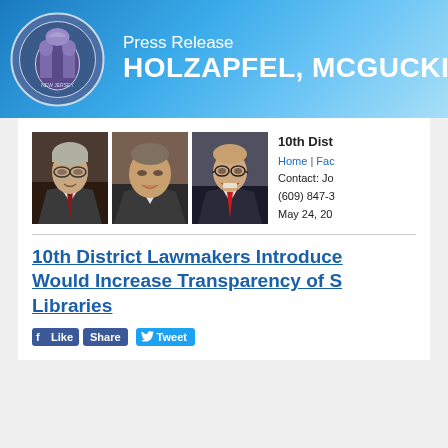Press Release HOLZAPFEL, MCGUCKIN &
[Figure (photo): Three headshot photos of the 10th District lawmakers side by side]
10th Dist
Home | Fac
Contact: Jo
(609) 847-3
May 24, 20
10th District Lawmakers Introduce [legislation] Would Increase Transparency of S[chool] Libraries
Like  Share  Tweet